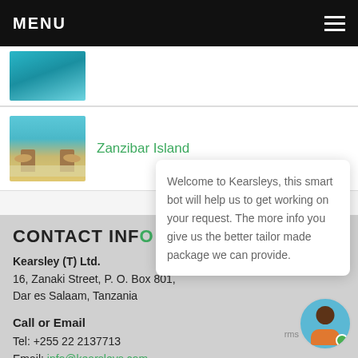MENU
[Figure (photo): Thumbnail of underwater/ocean scene (partial, cropped at top)]
Zanzibar Island
[Figure (photo): Chatbot popup: Welcome to Kearsleys, this smart bot will help us to get working on your request. The more info you give us the better tailor made package we can provide.]
CONTACT INFO
Kearsley (T) Ltd.
16, Zanaki Street, P. O. Box 801,
Dar es Salaam, Tanzania
Call or Email
Tel: +255 22 2137713
Email: info@kearsleys.com